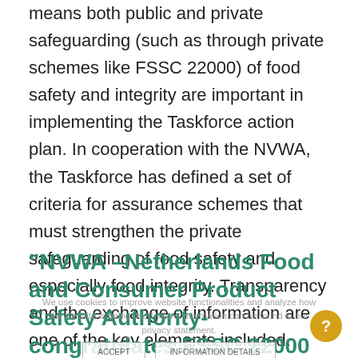means both public and private safeguarding (such as through private schemes like FSSC 22000) of food safety and integrity are important in implementing the Taskforce action plan. In cooperation with the NVWA, the Taskforce has defined a set of criteria for assurance schemes that must strengthen the private safeguarding of food safety and especially food integrity. Transparency and the exchange of information are one of the key elements included.
"NVWA –Netherlands Food and Consumer Product Safety Authority- congratulates FSSC 22000 on the acceptance of the